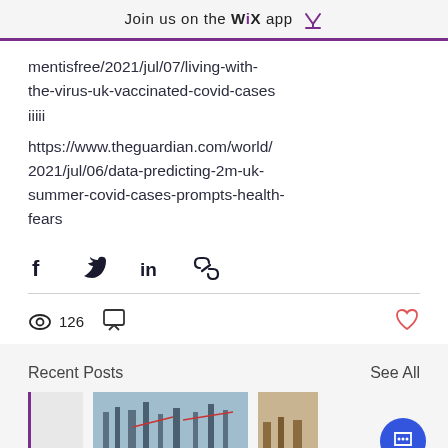Join us on the WiX app
mentisfree/2021/jul/07/living-with-the-virus-uk-vaccinated-covid-cases
iiiii
https://www.theguardian.com/world/2021/jul/06/data-predicting-2m-uk-summer-covid-cases-prompts-health-fears
[Figure (other): Social share icons: Facebook, Twitter, LinkedIn, Link]
126 views, comment icon, heart/like icon
Recent Posts
See All
[Figure (photo): Thumbnail images of recent posts showing ships/naval vessels]